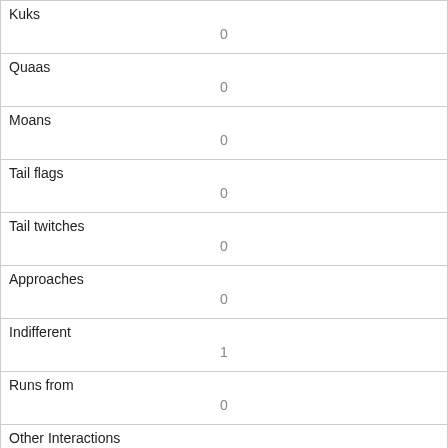| Kuks | 0 |
| Quaas | 0 |
| Moans | 0 |
| Tail flags | 0 |
| Tail twitches | 0 |
| Approaches | 0 |
| Indifferent | 1 |
| Runs from | 0 |
| Other Interactions |  |
| Lat/Long | POINT (-73.9706851546184 40.7780777016038) |